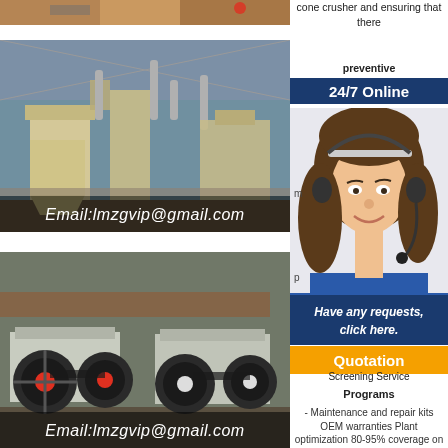[Figure (photo): Top partial machinery/crusher image strip]
[Figure (photo): Industrial grinding mill machinery inside a warehouse]
Email:lmzgvip@gmail.com
[Figure (photo): Two jaw crusher machines on a factory floor]
Email:lmzgvip@gmail.com
cone crusher and ensuring that there
preventive
24/7 Online
[Figure (photo): Customer service agent woman with headset smiling]
Have any requests, click here.
Quotation
Programs
- Maintenance and repair kits OEM warranties Plant optimization 80-95% coverage on list price